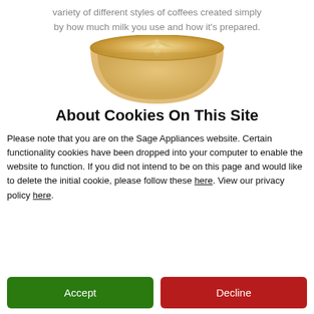variety of different styles of coffees created simply by how much milk you use and how it's prepared.
[Figure (photo): A latte coffee viewed from above showing milk foam art in the shape of a leaf/rosette pattern, served in a clear glass cup.]
About Cookies On This Site
Please note that you are on the Sage Appliances website. Certain functionality cookies have been dropped into your computer to enable the website to function. If you did not intend to be on this page and would like to delete the initial cookie, please follow these here. View our privacy policy here.
Accept
Decline